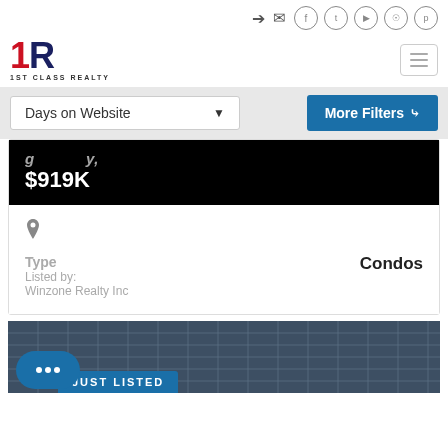1ST CLASS REALTY - navigation header with social icons
Days on Website
More Filters
$919K
Type
Listed by: Winzone Realty Inc
Condos
JUST LISTED